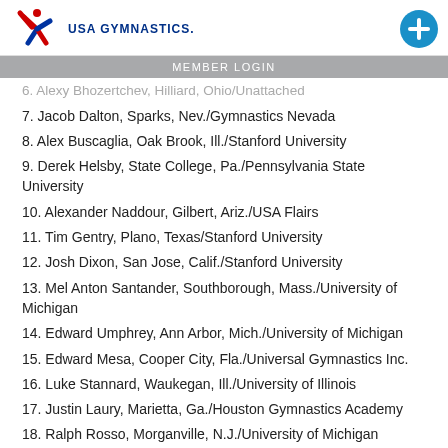USA GYMNASTICS
MEMBER LOGIN
6. Alexy Bhozertchev, Hilliard, Ohio/Unattached
7. Jacob Dalton, Sparks, Nev./Gymnastics Nevada
8. Alex Buscaglia, Oak Brook, Ill./Stanford University
9. Derek Helsby, State College, Pa./Pennsylvania State University
10. Alexander Naddour, Gilbert, Ariz./USA Flairs
11. Tim Gentry, Plano, Texas/Stanford University
12. Josh Dixon, San Jose, Calif./Stanford University
13. Mel Anton Santander, Southborough, Mass./University of Michigan
14. Edward Umphrey, Ann Arbor, Mich./University of Michigan
15. Edward Mesa, Cooper City, Fla./Universal Gymnastics Inc.
16. Luke Stannard, Waukegan, Ill./University of Illinois
17. Justin Laury, Marietta, Ga./Houston Gymnastics Academy
18. Ralph Rosso, Morganville, N.J./University of Michigan
19. Spencer Johnson, Colorado Springs, Colo./Colorado Training Center
20. Donothan Bailey, Lake Forest, Calif./Azarian Gymnastics
21. Cameron Dees, Houston/Houston Gymnastics Academy